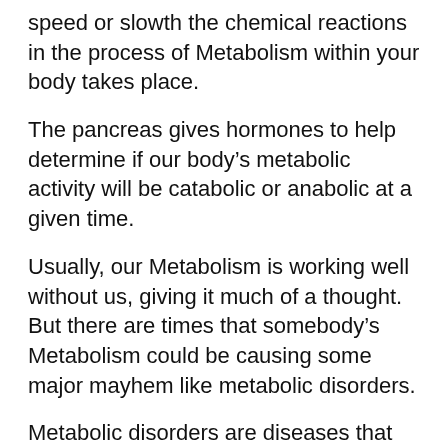speed or slowth the chemical reactions in the process of Metabolism within your body takes place.
The pancreas gives hormones to help determine if our body's metabolic activity will be catabolic or anabolic at a given time.
Usually, our Metabolism is working well without us, giving it much of a thought. But there are times that somebody's Metabolism could be causing some major mayhem like metabolic disorders.
Metabolic disorders are diseases that are caused by abnormal chemical reactions within our body's cells. More lessons about Life Science are available at Onseqo GED